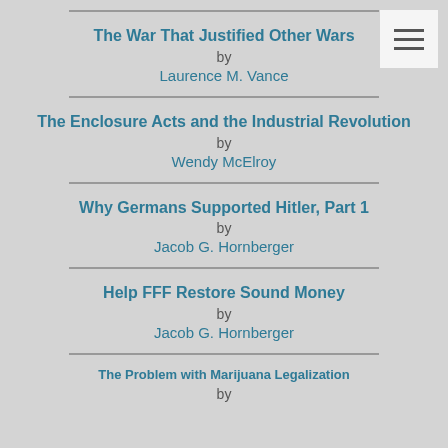The War That Justified Other Wars by Laurence M. Vance
The Enclosure Acts and the Industrial Revolution by Wendy McElroy
Why Germans Supported Hitler, Part 1 by Jacob G. Hornberger
Help FFF Restore Sound Money by Jacob G. Hornberger
The Problem with Marijuana Legalization by